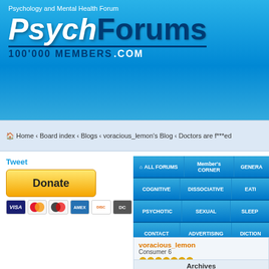Psychology and Mental Health Forum — PsychForums 100'000 MEMBERS .COM
Home ‹ Board index ‹ Blogs ‹ voracious_lemon's Blog ‹ Doctors are f***ed
Tweet
[Figure (other): Donate button with PayPal and credit card icons (VISA, Mastercard, Discover, Amex, Diner's Club)]
ALL FORUMS | Member's CORNER | GENERA | COGNITIVE | DISSOCIATIVE | EATI | PSYCHOTIC | SEXUAL | SLEEP | CONTACT | ADVERTISING | DICTION
voracious_lemon
Consumer 6
consumer
Posts: 1153
Joined: Thu Apr 16, 2015 5:54 pm
Blog: View Blog (10)
Archives